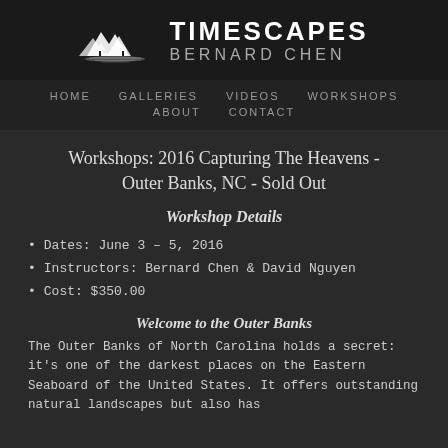[Figure (logo): Timescapes mountain landscape logo with white silhouette of mountains and water reflection on dark background, with text TIMESCAPES and BERNARD CHEN]
HOME   GALLERIES   VIDEOS   WORKSHOPS   ABOUT   CONTACT
Workshops: 2016 Capturing The Heavens - Outer Banks, NC - Sold Out
Workshop Details
Dates: June 3 – 5, 2016
Instructors: Bernard Chen & David Nguyen
Cost: $350.00
Welcome to the Outer Banks
The Outer Banks of North Carolina holds a secret: it's one of the darkest places on the Eastern Seaboard of the United States. It offers outstanding natural landscapes but also has